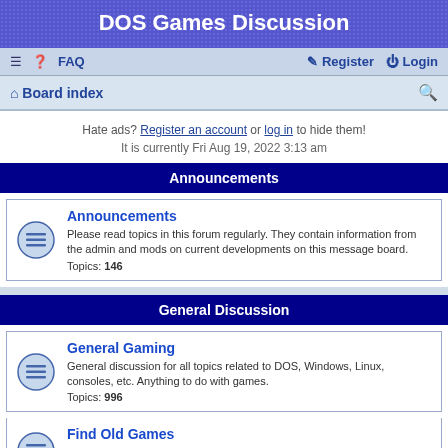DOS Games Discussion
≡  ? FAQ    Register  Login
Board index  [search]
Hate ads? Register an account or log in to hide them!
It is currently Fri Aug 19, 2022 3:13 am
Announcements
Announcements
Please read topics in this forum regularly. They contain information from the admin and mods on current developments on this message board.
Topics: 146
General Discussion
General Gaming
General discussion for all topics related to DOS, Windows, Linux, consoles, etc. Anything to do with games.
Topics: 996
Find Old Games
Help locating old / Pre year 2000 games you used to play.
Topics: 8861
Get Games to Work
Post problems with getting games installed and running properly here.